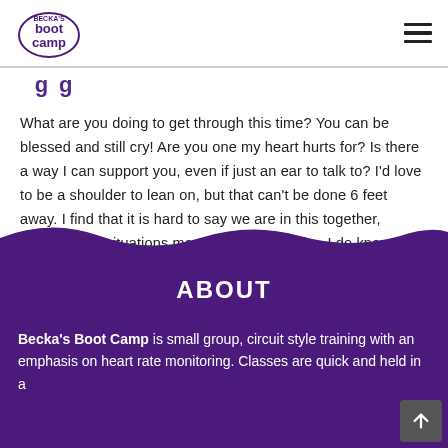Becka's Boot Camp logo and navigation menu
(partial heading text, cut off at top)
What are you doing to get through this time? You can be blessed and still cry! Are you one my heart hurts for? Is there a way I can support you, even if just an ear to talk to? I'd love to be a shoulder to lean on, but that can't be done 6 feet away. I find that it is hard to say we are in this together, because our situations may look nothing alike. I do know that we all have had to make changes and sacrifices for the better good of our world.
ABOUT
Becka's Boot Camp is small group, circuit style training with an emphasis on heart rate monitoring. Classes are quick and held in a